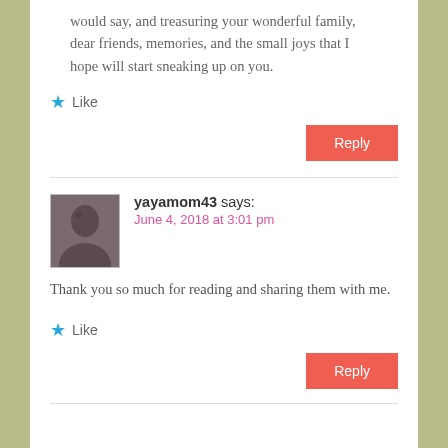would say, and treasuring your wonderful family, dear friends, memories, and the small joys that I hope will start sneaking up on you.
★ Like
Reply
yayamom43 says:
June 4, 2018 at 3:01 pm
Thank you so much for reading and sharing them with me.
★ Like
Reply